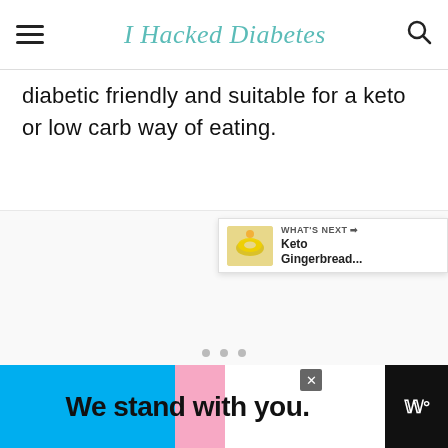I Hacked Diabetes
diabetic friendly and suitable for a keto or low carb way of eating.
[Figure (photo): Image placeholder area with social interaction buttons (heart/save button with count 1, share button) and a 'What's Next' card showing Keto Gingerbread...]
We stand with you.